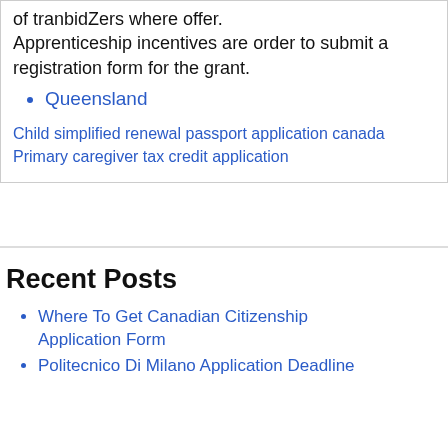of tranbidZers where offer. Apprenticeship incentives are order to submit a registration form for the grant.
Queensland
Child simplified renewal passport application canada
Primary caregiver tax credit application
Recent Posts
Where To Get Canadian Citizenship Application Form
Politecnico Di Milano Application Deadline
Teleshare Dev Application Penetal